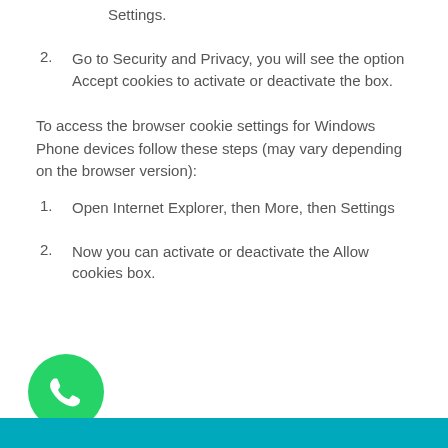2. Go to Security and Privacy, you will see the option Accept cookies to activate or deactivate the box.
To access the browser cookie settings for Windows Phone devices follow these steps (may vary depending on the browser version):
1. Open Internet Explorer, then More, then Settings
2. Now you can activate or deactivate the Allow cookies box.
[Figure (logo): WhatsApp logo button — green circle with white phone handset icon]